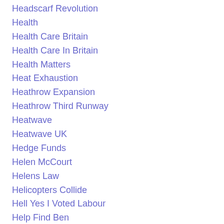Headscarf Revolution
Health
Health Care Britain
Health Care In Britain
Health Matters
Heat Exhaustion
Heathrow Expansion
Heathrow Third Runway
Heatwave
Heatwave UK
Hedge Funds
Helen McCourt
Helens Law
Helicopters Collide
Hell Yes I Voted Labour
Help Find Ben
Hero Pilot
Hillary Clinton